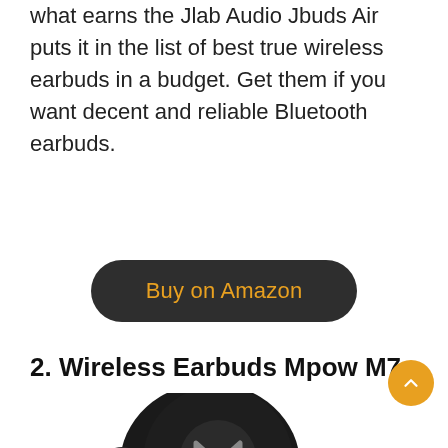what earns the Jlab Audio Jbuds Air puts it in the list of best true wireless earbuds in a budget. Get them if you want decent and reliable Bluetooth earbuds.
[Figure (other): Dark rounded rectangle button with orange text reading 'Buy on Amazon']
2. Wireless Earbuds Mpow M7
[Figure (photo): Photo of Mpow M7 true wireless earbuds in black, showing one earbud with the Mpow logo and a charging case below it]